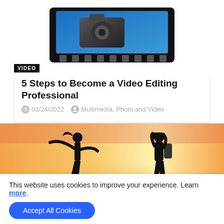[Figure (illustration): Film strip / video camera icon with blue gradient background and filmstrip sprockets]
VIDEO
5 Steps to Become a Video Editing Professional
01/24/2022  Multimedia, Photo and Video
[Figure (photo): Silhouette of a woman posing with arms outstretched and a photographer taking her photo against a golden sunset background]
This website uses cookies to improve your experience. Learn more.
Accept All Cookies